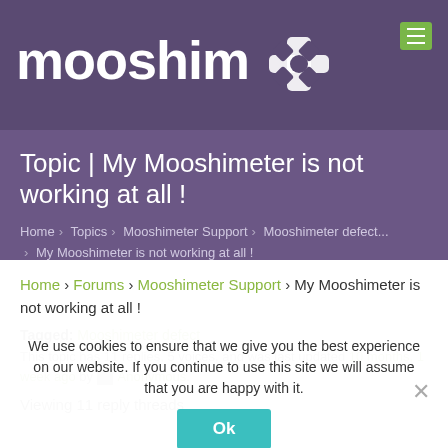mooshim[logo]
Topic | My Mooshimeter is not working at all !
Home › Topics › Mooshimeter Support › Mooshimeter defect... › My Mooshimeter is not working at all !
Home › Forums › Mooshimeter Support › My Mooshimeter is not working at all !
Tagged: Mooshimeter defect
This topic has 11 replies, 5 voices, and was last updated 10 months, 1 week ago by [avatar] Anonymous.
We use cookies to ensure that we give you the best experience on our website. If you continue to use this site we will assume that you are happy with it.
Ok
Viewing 11 reply threads